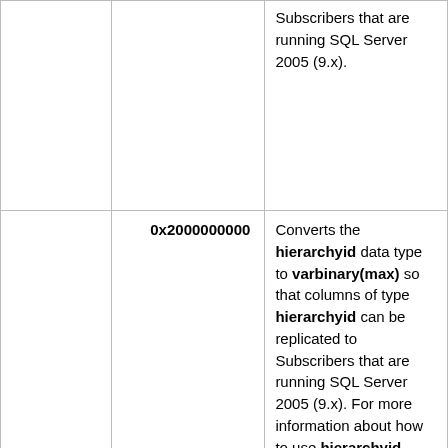|  |  | Subscribers that are running SQL Server 2005 (9.x). |
|  | 0x2000000000 | Converts the hierarchyid data type to varbinary(max) so that columns of type hierarchyid can be replicated to Subscribers that are running SQL Server 2005 (9.x). For more information about how to use hierarchyid columns in replicated tables, |